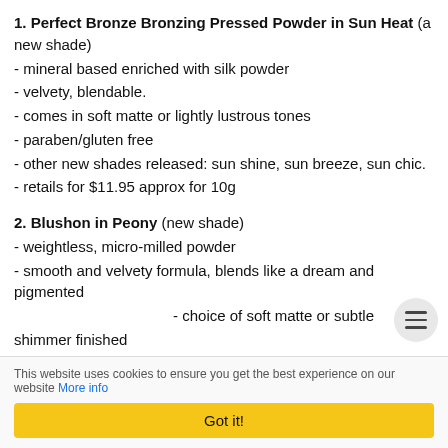1. Perfect Bronze Bronzing Pressed Powder in Sun Heat (a new shade)
- mineral based enriched with silk powder
- velvety, blendable.
- comes in soft matte or lightly lustrous tones
- paraben/gluten free
- other new shades released: sun shine, sun breeze, sun chic.
- retails for $11.95 approx for 10g
2. Blushon in Peony (new shade)
- weightless, micro-milled powder
- smooth and velvety formula, blends like a dream and pigmented
- choice of soft matte or subtle shimmer finished
This website uses cookies to ensure you get the best experience on our website More info
Got it!